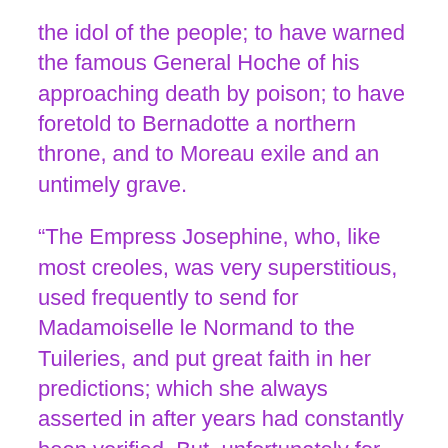the idol of the people; to have warned the famous General Hoche of his approaching death by poison; to have foretold to Bernadotte a northern throne, and to Moreau exile and an untimely grave.
“The Empress Josephine, who, like most creoles, was very superstitious, used frequently to send for Madamoiselle le Normand to the Tuileries, and put great faith in her predictions; which she always asserted in after years had constantly been verified. But, unfortunately for the sybil, she did not content herself with telling Josephine’s fortune, but actually ventured to predict a future replete with malignant influences to the Emperor himself. This rash conduct entailed upon her great misfortunes and a long imprisonment; but she survived all her troubles, and died as late as 1843, having long before given up fortune telling, by which she had amassed a